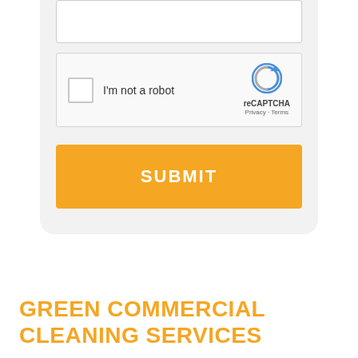[Figure (screenshot): reCAPTCHA widget with checkbox labeled 'I'm not a robot' and the reCAPTCHA logo with Privacy and Terms links]
SUBMIT
GREEN COMMERCIAL CLEANING SERVICES